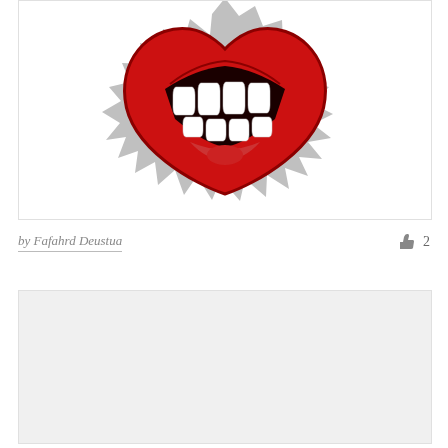[Figure (illustration): An illustration of a red heart shape with a wide open grinning mouth showing teeth, set against a grey spiky starburst/badge background on a white card]
by Fafahrd Deustua
2
[Figure (illustration): A second card area, light grey, partially visible at the bottom of the page]